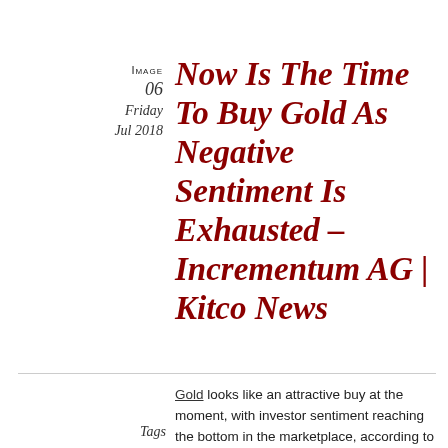IMAGE  06
Friday
Jul 2018
Now Is The Time To Buy Gold As Negative Sentiment Is Exhausted – Incrementum AG | Kitco News
Gold looks like an attractive buy at the moment, with investor sentiment reaching the bottom in the marketplace, according to one European fund manager.
Tags